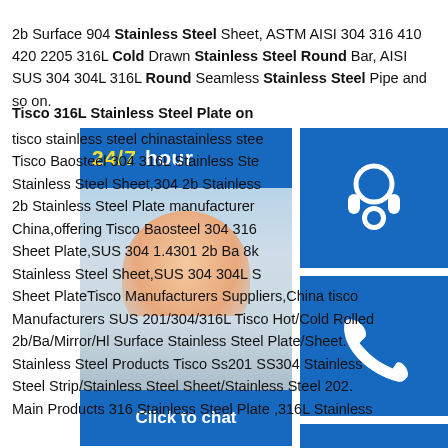2b Surface 904 Stainless Steel Sheet, ASTM AISI 304 316 410 420 2205 316L Cold Drawn Stainless Steel Round Bar, AISI SUS 304 304L 316L Round Seamless Stainless Steel Pipe and so on.
Tisco 316L Stainless Steel Plate on
[Figure (infographic): Customer service chat widget with 24/7 hour banner, photo of a smiling customer service woman with headset, blue icon boxes with headset icon, phone icon, Skype icon, and a Click to chat button at the bottom.]
tisco stainless steel chinastainless stee Tisco Baosteel 304 316L Stainless Ste Stainless Steel Sheet,304 2b Stainless 2b Stainless Steel Plate manufacturer China,offering Tisco Baosteel 304 316 Sheet Plate,SUS 304 1.4301 2b Ba 8k Stainless Steel Sheet,SUS 304 304L S Sheet PlateTisco Manufacturers Suppliers,China tisco Manufacturers SUS 201/304/316L Tisco Hot/Cold Rolled 2b/Ba/Mirror/Hl Surface Stainless Steel Plate/Sheet. Stainless Steel Products Tisco Ss201 SS304 Stainless Steel Strip/Stainless Steel Sheet/Stainless Steel 202. Main Products 316 Stainless Steel Plate ,316L Stainless